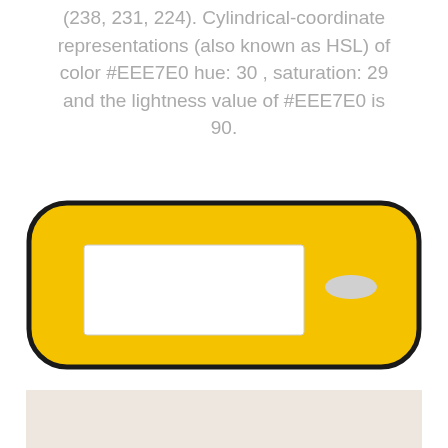(238, 231, 224). Cylindrical-coordinate representations (also known as HSL) of color #EEE7E0 hue: 30 , saturation: 29 and the lightness value of #EEE7E0 is 90.
[Figure (illustration): A yellow rounded rectangle with a thick dark border, containing a white rectangular box on the left side and a small gray oval/button on the right side.]
[Figure (illustration): A light beige/cream colored rectangle partially visible at the bottom of the page, representing the color #EEE7E0.]